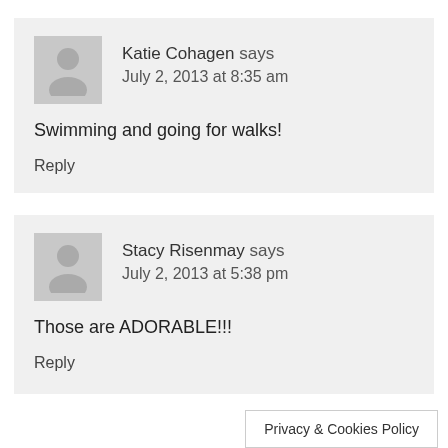Katie Cohagen says
July 2, 2013 at 8:35 am
Swimming and going for walks!
Reply
Stacy Risenmay says
July 2, 2013 at 5:38 pm
Those are ADORABLE!!!
Reply
Privacy & Cookies Policy